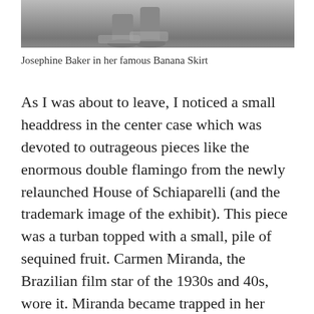[Figure (photo): Black and white photograph showing the lower body of Josephine Baker, visible from approximately the waist down, wearing her famous Banana Skirt and sandals, standing on a stage floor.]
Josephine Baker in her famous Banana Skirt
As I was about to leave, I noticed a small headdress in the center case which was devoted to outrageous pieces like the enormous double flamingo from the newly relaunched House of Schiaparelli (and the trademark image of the exhibit). This piece was a turban topped with a small, pile of sequined fruit. Carmen Miranda, the Brazilian film star of the 1930s and 40s, wore it. Miranda became trapped in her Camp image in the United States, which lead to the decline of her career. Her headdress is now at